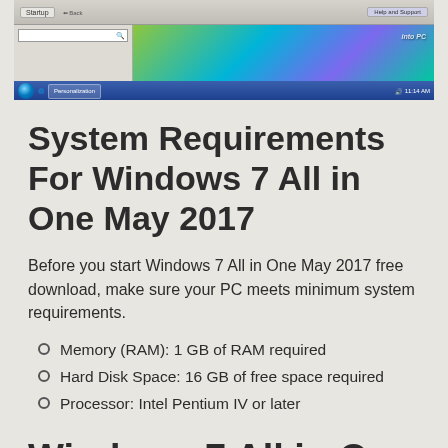[Figure (screenshot): Windows 7 desktop screenshot showing taskbar, Windows Explorer or Control Panel window, and the Windows Aero glass theme with a colorful wallpaper.]
System Requirements For Windows 7 All in One May 2017
Before you start Windows 7 All in One May 2017 free download, make sure your PC meets minimum system requirements.
Memory (RAM): 1 GB of RAM required
Hard Disk Space: 16 GB of free space required
Processor: Intel Pentium IV or later
Windows 7 All in One May